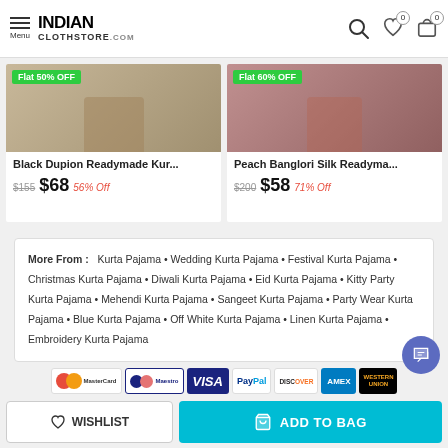INDIAN CLOTHSTORE.COM — Menu | Search | Wishlist 0 | Cart 0
[Figure (screenshot): Product card: Black Dupion Readymade Kur... Flat 50% OFF, $155 $68 56% Off]
[Figure (screenshot): Product card: Peach Banglori Silk Readyma... Flat 60% OFF, $200 $58 71% Off]
More From : Kurta Pajama • Wedding Kurta Pajama • Festival Kurta Pajama • Christmas Kurta Pajama • Diwali Kurta Pajama • Eid Kurta Pajama • Kitty Party Kurta Pajama • Mehendi Kurta Pajama • Sangeet Kurta Pajama • Party Wear Kurta Pajama • Blue Kurta Pajama • Off White Kurta Pajama • Linen Kurta Pajama • Embroidery Kurta Pajama
[Figure (logo): Payment logos: MasterCard, Maestro, VISA, PayPal, DISCOVER, AMEX, Western Union, DHL, FedEx, UPS]
WISHLIST
ADD TO BAG